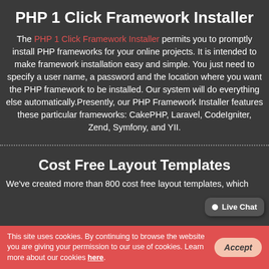PHP 1 Click Framework Installer
The PHP 1 Click Framework Installer permits you to promptly install PHP frameworks for your online projects. It is intended to make framework installation easy and simple. You just need to specify a user name, a password and the location where you want the PHP framework to be installed. Our system will do everything else automatically.Presently, our PHP Framework Installer features these particular frameworks: CakePHP, Laravel, CodeIgniter, Zend, Symfony, and YII.
Cost Free Layout Templates
We've created more than 800 cost free layout templates, which are offered for joining our Control Panel. You can use free of
[Figure (other): Live Chat button bubble in bottom-right corner]
This site uses cookies. By continuing to browse the website you are giving your permission to our use of cookies. Learn more about our cookies here.